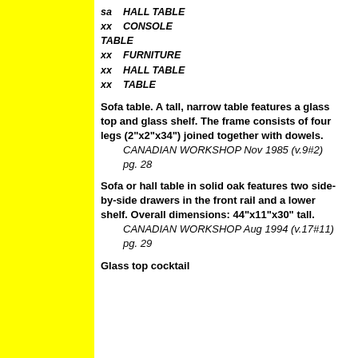sa  HALL TABLE
xx  CONSOLE TABLE
xx  FURNITURE
xx  HALL TABLE
xx  TABLE
Sofa table. A tall, narrow table features a glass top and glass shelf. The frame consists of four legs (2"x2"x34") joined together with dowels.
CANADIAN WORKSHOP Nov 1985 (v.9#2) pg. 28
Sofa or hall table in solid oak features two side-by-side drawers in the front rail and a lower shelf. Overall dimensions: 44"x11"x30" tall.
CANADIAN WORKSHOP Aug 1994 (v.17#11) pg. 29
Glass top cocktail